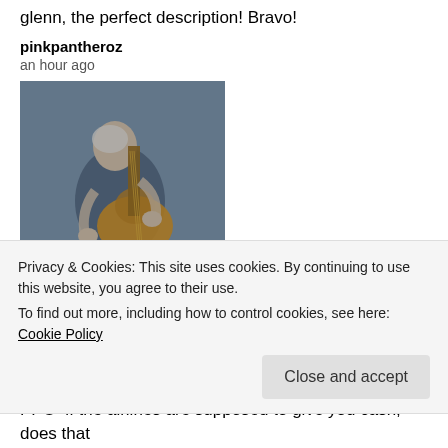glenn, the perfect description! Bravo!
pinkpantheroz
an hour ago
[Figure (photo): Painting of an old guitarist, appears to be Picasso's 'The Old Guitarist', showing a hunched figure playing a guitar in blue tones]
We have to pin our hopes that the FBI finds criminal behaviour in the Trump Campaign and jails some of those bastards! And drive Donald from power
Beatlex
an hour ago
Privacy & Cookies: This site uses cookies. By continuing to use this website, you agree to their use.
To find out more, including how to control cookies, see here: Cookie Policy
Close and accept
PPO–if the airlines are supposed to give you cash, does that